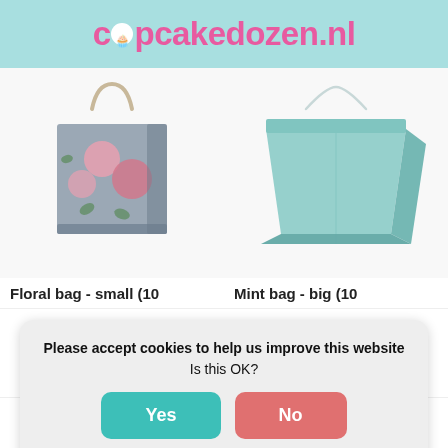cupcakedozen.nl
[Figure (photo): Floral paper gift bag with handles, small size, featuring pink and purple flowers on dark background]
[Figure (photo): Mint/teal colored plain paper gift bag, big size, with rope handles]
Floral bag - small (10
Mint bag - big (10
Please accept cookies to help us improve this website
Is this OK?
Yes
No
More on cookies »
(€4,78 incl. VAT)
(€7,20 incl. VAT)
Navigation: Menu, Account, Search, Language, Cart (0)